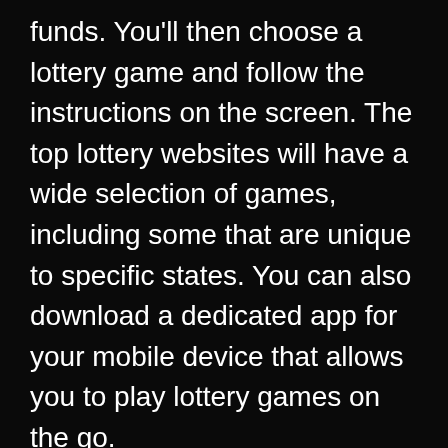funds. You'll then choose a lottery game and follow the instructions on the screen. The top lottery websites will have a wide selection of games, including some that are unique to specific states. You can also download a dedicated app for your mobile device that allows you to play lottery games on the go.
Some lottery websites also offer real-money games. The best sites will allow you to choose your numbers, buy tickets, and check the odds and jackpot amounts. You'll also enjoy instant results and a rewards program. You can even redeem your rewards for bonus cash.